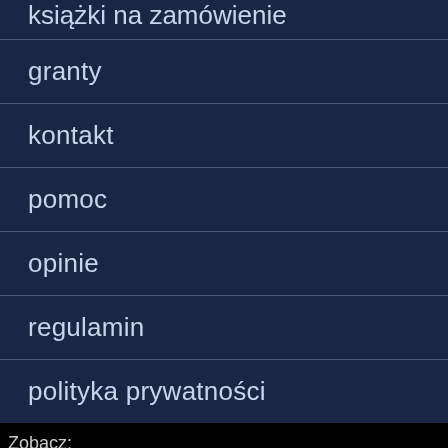książki na zamówienie
granty
kontakt
pomoc
opinie
regulamin
polityka prywatności
Zobacz:
Księgarnia czeska
Wydawnictwo Książkowe Klimaty